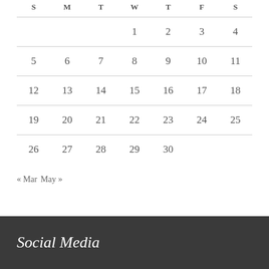| S | M | T | W | T | F | S |
| --- | --- | --- | --- | --- | --- | --- |
|  |  |  | 1 | 2 | 3 | 4 |
| 5 | 6 | 7 | 8 | 9 | 10 | 11 |
| 12 | 13 | 14 | 15 | 16 | 17 | 18 |
| 19 | 20 | 21 | 22 | 23 | 24 | 25 |
| 26 | 27 | 28 | 29 | 30 |  |  |
« Mar  May »
Social Media